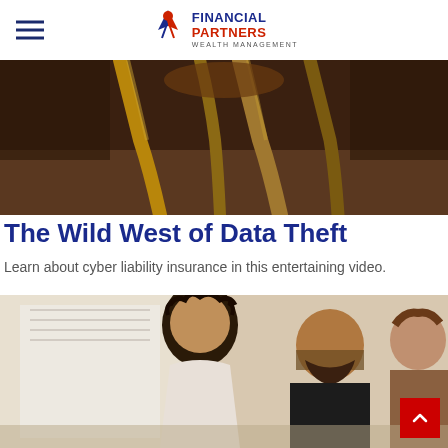Financial Partners Wealth Management
[Figure (photo): Close-up photo of braided rope or wire against a dark wooden background]
The Wild West of Data Theft
Learn about cyber liability insurance in this entertaining video.
[Figure (photo): Three people sitting together looking at something, woman with curly hair in foreground, man with beard and woman in background]